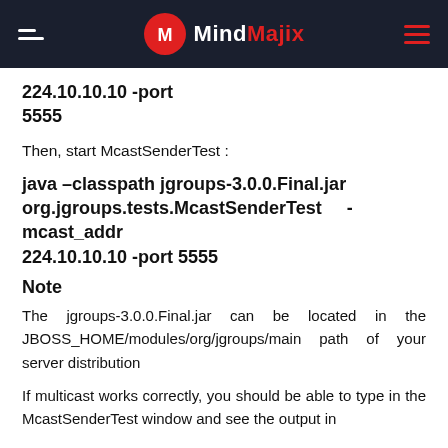MindMajix
224.10.10.10 -port
5555
Then, start McastSenderTest :
java –classpath jgroups-3.0.0.Final.jar org.jgroups.tests.McastSenderTest    -mcast_addr 224.10.10.10 -port 5555
Note
The jgroups-3.0.0.Final.jar can be located in the JBOSS_HOME/modules/org/jgroups/main path of your server distribution
If multicast works correctly, you should be able to type in the McastSenderTest window and see the output in